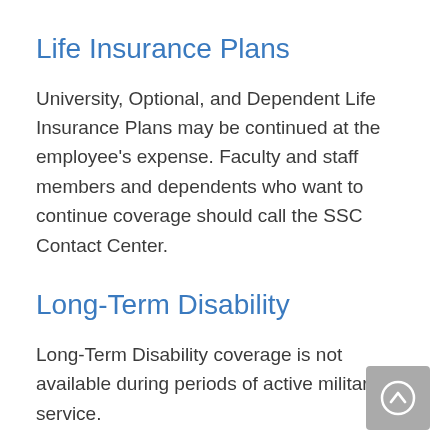Life Insurance Plans
University, Optional, and Dependent Life Insurance Plans may be continued at the employee's expense. Faculty and staff members and dependents who want to continue coverage should call the SSC Contact Center.
Long-Term Disability
Long-Term Disability coverage is not available during periods of active military service.